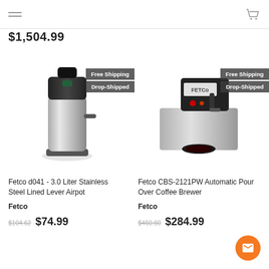Navigation header with hamburger menu and cart icon
$1,504.99
[Figure (photo): Fetco d041 3.0 Liter Stainless Steel Lined Lever Airpot product photo with Free Shipping and Drop-Shipped badges]
Fetco d041 - 3.0 Liter Stainless Steel Lined Lever Airpot
Fetco
$104.62  $74.99
[Figure (photo): Fetco CBS-2121PW Automatic Pour Over Coffee Brewer product photo with Free Shipping and Drop-Shipped badges]
Fetco CBS-2121PW Automatic Pour Over Coffee Brewer
Fetco
$460.60  $284.99